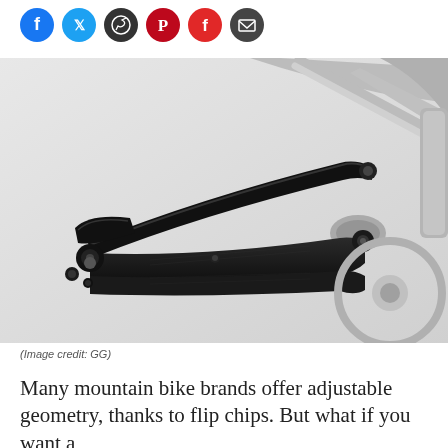[Figure (other): Social media sharing icons: Facebook (blue circle), Twitter (blue circle), WhatsApp (dark circle with phone), Pinterest (red circle with P), Flipboard (red circle with F), Email (dark circle with envelope)]
[Figure (photo): Close-up photo of a black carbon mountain bike rear triangle/swingarm component against a gray aluminum full-suspension bike frame background]
(Image credit: GG)
Many mountain bike brands offer adjustable geometry, thanks to flip chips. But what if you want a